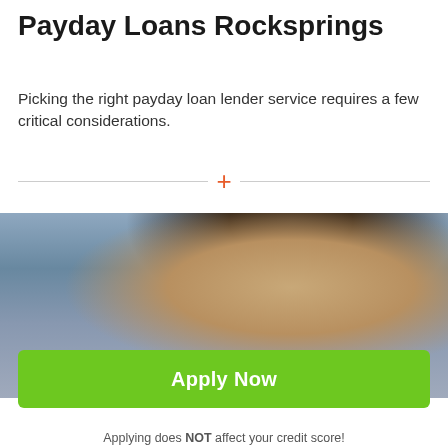Payday Loans Rocksprings
Picking the right payday loan lender service requires a few critical considerations.
[Figure (other): Orange plus sign on a horizontal dashed divider line]
[Figure (photo): Woman with dark hair looking down, smiling, in indoor setting with curtains and window in background]
Apply Now
Applying does NOT affect your credit score! No credit check to apply.